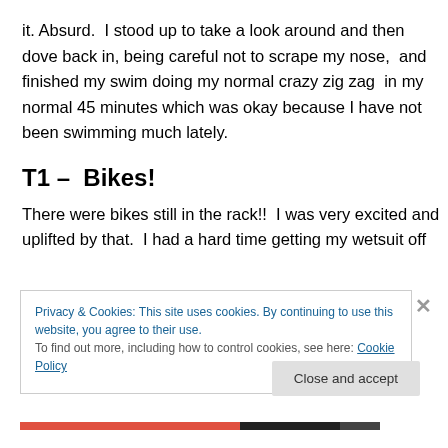it. Absurd.  I stood up to take a look around and then dove back in, being careful not to scrape my nose,  and finished my swim doing my normal crazy zig zag  in my normal 45 minutes which was okay because I have not been swimming much lately.
T1 –  Bikes!
There were bikes still in the rack!!  I was very excited and uplifted by that.  I had a hard time getting my wetsuit off
Privacy & Cookies: This site uses cookies. By continuing to use this website, you agree to their use.
To find out more, including how to control cookies, see here: Cookie Policy
Close and accept